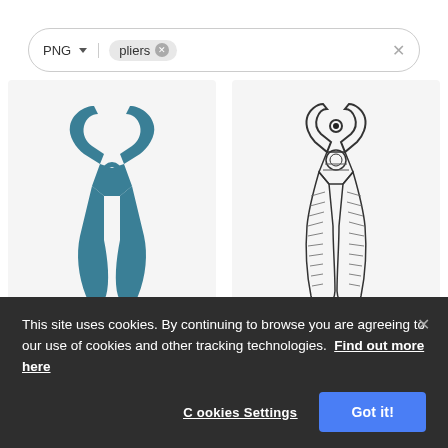[Figure (screenshot): Search bar with PNG filter dropdown and 'pliers' search tag with close button, and an X button on the right]
[Figure (screenshot): Two pliers images side by side: left is a flat color teal/blue vector icon of pliers; right is a detailed black-and-white hand-drawn sketch of pliers]
This site uses cookies. By continuing to browse you are agreeing to our use of cookies and other tracking technologies.  Find out more here
Cookies Settings
Got it!